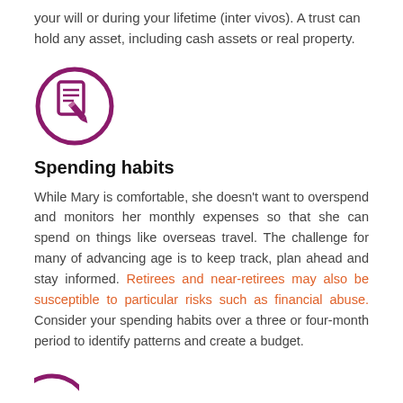your will or during your lifetime (inter vivos). A trust can hold any asset, including cash assets or real property.
[Figure (illustration): Circular purple icon with a document and pencil symbol inside]
Spending habits
While Mary is comfortable, she doesn't want to overspend and monitors her monthly expenses so that she can spend on things like overseas travel. The challenge for many of advancing age is to keep track, plan ahead and stay informed. Retirees and near-retirees may also be susceptible to particular risks such as financial abuse. Consider your spending habits over a three or four-month period to identify patterns and create a budget.
[Figure (illustration): Partial circular purple icon visible at bottom of page]